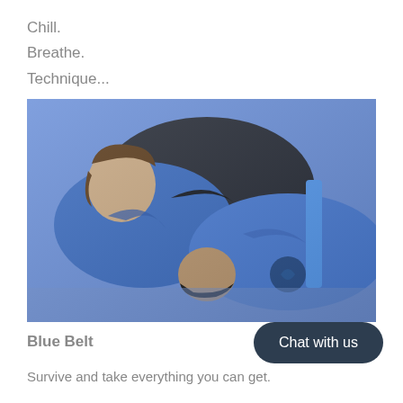Chill.
Breathe.
Technique...
[Figure (photo): Two people practicing Brazilian Jiu-Jitsu (BJJ) grappling on a mat. Both wearing blue gis (uniforms), one person applying a technique on the other who is on the ground. The setting appears to be a martial arts gym.]
Blue Belt
Survive and take everything you can get.
Chat with us